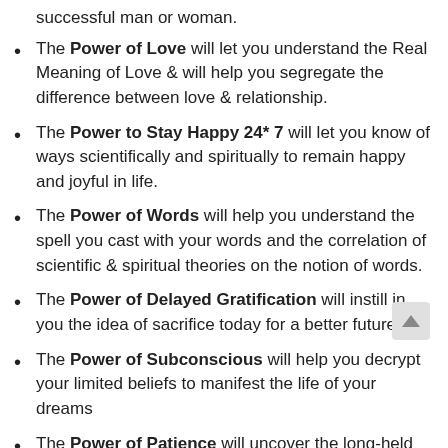successful man or woman.
The Power of Love will let you understand the Real Meaning of Love & will help you segregate the difference between love & relationship.
The Power to Stay Happy 24* 7 will let you know of ways scientifically and spiritually to remain happy and joyful in life.
The Power of Words will help you understand the spell you cast with your words and the correlation of scientific & spiritual theories on the notion of words.
The Power of Delayed Gratification will instill in you the idea of sacrifice today for a better future.
The Power of Subconscious will help you decrypt your limited beliefs to manifest the life of your dreams
The Power of Patience will uncover the long-held belief